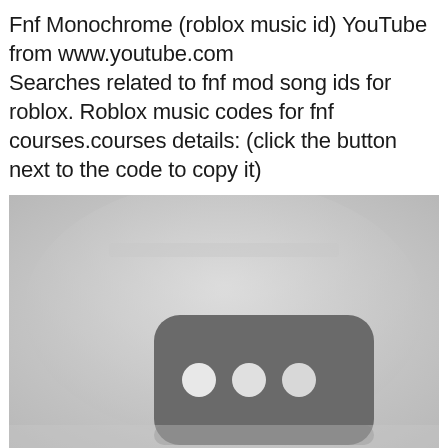Fnf Monochrome (roblox music id) YouTube from www.youtube.com
Searches related to fnf mod song ids for roblox. Roblox music codes for fnf courses.courses details: (click the button next to the code to copy it)
[Figure (screenshot): A grayscale YouTube video thumbnail placeholder showing a dark rounded rectangle with three white circles (loading indicator) on a light gray gradient background.]